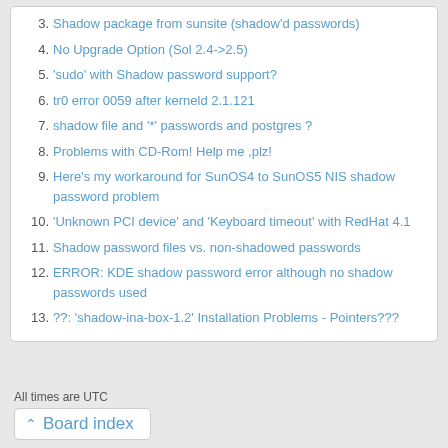3. Shadow package from sunsite (shadow'd passwords)
4. No Upgrade Option (Sol 2.4->2.5)
5. 'sudo' with Shadow password support?
6. tr0 error 0059 after kerneld 2.1.121
7. shadow file and '*' passwords and postgres ?
8. Problems with CD-Rom! Help me ,plz!
9. Here's my workaround for SunOS4 to SunOS5 NIS shadow password problem
10. 'Unknown PCI device' and 'Keyboard timeout' with RedHat 4.1
11. Shadow password files vs. non-shadowed passwords
12. ERROR: KDE shadow password error although no shadow passwords used
13. ??: 'shadow-ina-box-1.2' Installation Problems - Pointers???
All times are UTC
Board index